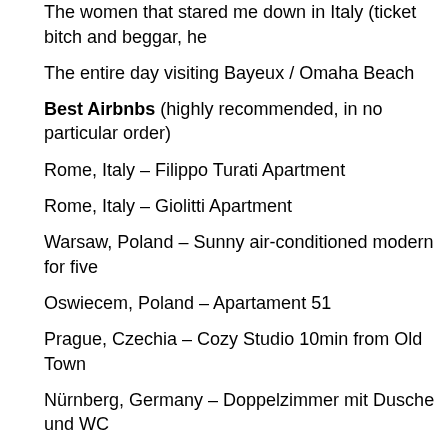The Bratislava maid with some challenges
The women that stared me down in Italy (ticket bitch and beggar, he
The entire day visiting Bayeux / Omaha Beach
Best Airbnbs (highly recommended, in no particular order)
Rome, Italy – Filippo Turati Apartment
Rome, Italy – Giolitti Apartment
Warsaw, Poland – Sunny air-conditioned modern for five
Oswiecem, Poland – Apartament 51
Prague, Czechia – Cozy Studio 10min from Old Town
Nürnberg, Germany – Doppelzimmer mit Dusche und WC
Budapest, Hungary – Alba BudaPest – Apartment w/ AC
Split, Croatia – ABC Luxury Room Split Bacvice
Zagreb, Croatia – Time Superior Apartment (Self check-in)
Ljubljana, Slovenia – Two-room apartment in center of Ljubljana